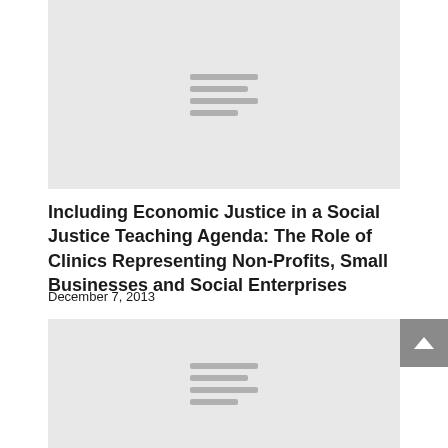[Figure (other): Gray placeholder card with horizontal lines in the center, representing a document thumbnail or image placeholder]
Including Economic Justice in a Social Justice Teaching Agenda: The Role of Clinics Representing Non-Profits, Small Businesses and Social Enterprises
December 7, 2013
[Figure (other): Gray placeholder card with horizontal lines in the center, representing a second document thumbnail or image placeholder]